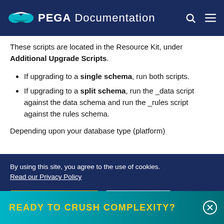PEGA Documentation
These scripts are located in the Resource Kit, under Additional Upgrade Scripts.
If upgrading to a single schema, run both scripts.
If upgrading to a split schema, run the _data script against the data schema and run the _rules script against the rules schema.
Depending upon your database type (platform)
READY TO CRUSH COMPLEXITY?
By using this site, you agree to the use of cookies. Read our Privacy Policy
Accept and continue   About cookies